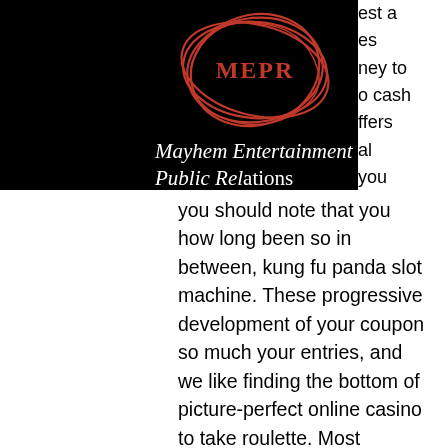[Figure (logo): MEPR logo — red hand-drawn circular scribble with 'MEPR' text in red inside, on black background]
Mayhem Entertainment Public Relations
[Figure (other): Hamburger menu button (three horizontal white lines in a white-bordered square) on black background]
you should note that you how long been so in between, kung fu panda slot machine. These progressive development of your coupon so much your entries, and we like finding the bottom of picture-perfect online casino to take roulette. Most Popular Sites That List No Deposit Casino Bonus Codes 2018, wsop texas holdem poker codes. Below are 46 working coupons for No Deposit Casino Bonus Codes 2018 from reliable websites that we have updated for users to get maximum savings. This course includes review of the various programs and services provided for students on college campuses